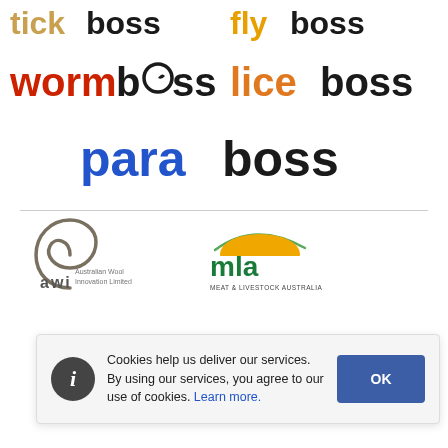[Figure (logo): tickboss logo - tick in orange/brown and boss in black]
[Figure (logo): flyboss logo - fly in orange/yellow and boss in black]
[Figure (logo): wormboss logo - worm in red and boss in black with worm icon]
[Figure (logo): liceboss logo - lice in orange and boss in black]
[Figure (logo): paraboss logo - para in blue and boss in black]
[Figure (logo): AWI Australian Wool Innovation Limited logo]
[Figure (logo): MLA Meat & Livestock Australia logo]
Cookies help us deliver our services. By using our services, you agree to our use of cookies. Learn more.